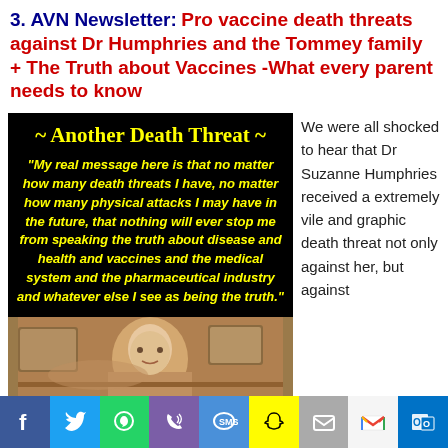3. AVN Newsletter: Pro vaccine death threats against Dr Humphries and the Tommey family + The Truth about Vaccines -What every parent needs to know
[Figure (screenshot): Black background image with yellow bold text header '~ Another Death Threat ~' and italic yellow quote text below. Below that is a video still of an older woman with grey hair speaking.]
We were all shocked to hear that Dr Suzanne Humphries received a extremely vile and graphic death threat not only against her, but against
[Figure (infographic): Social media share bar with icons for Facebook, Twitter, WhatsApp, Phone, SMS, Snapchat, Email, Gmail, Outlook]